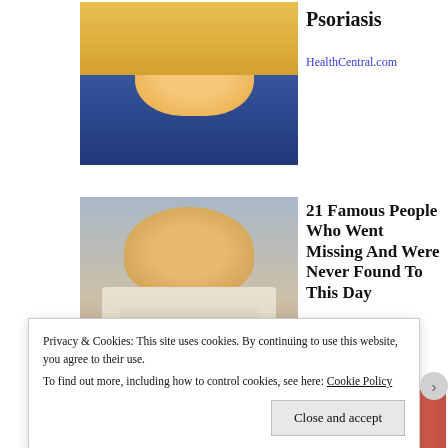[Figure (photo): Person in yellow sweater showing skin on arm, related to psoriasis]
Psoriasis
HealthCentral.com
[Figure (photo): Young man in Chicago Bulls jersey smiling, famous missing people article]
21 Famous People Who Went Missing And Were Never Found To This Day
Definition
[Figure (photo): Close-up of hand holding a small device, green background]
Privacy & Cookies: This site uses cookies. By continuing to use this website, you agree to their use.
To find out more, including how to control cookies, see here: Cookie Policy
Close and accept